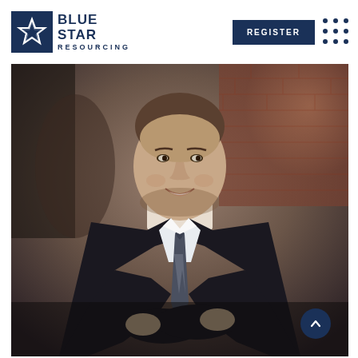[Figure (logo): Blue Star Resourcing logo with dark navy star icon and text]
[Figure (photo): Professional man in dark suit with arms crossed, smiling, set against a blurred brick/office background]
[Figure (other): Register button (dark navy rectangle) and 3x3 dot grid navigation icon in header]